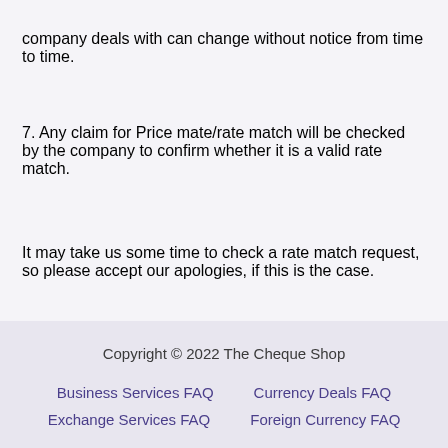company deals with can change without notice from time to time.
7. Any claim for Price mate/rate match will be checked by the company to confirm whether it is a valid rate match.
It may take us some time to check a rate match request, so please accept our apologies, if this is the case.
Copyright © 2022 The Cheque Shop
Business Services FAQ    Currency Deals FAQ
Exchange Services FAQ    Foreign Currency FAQ